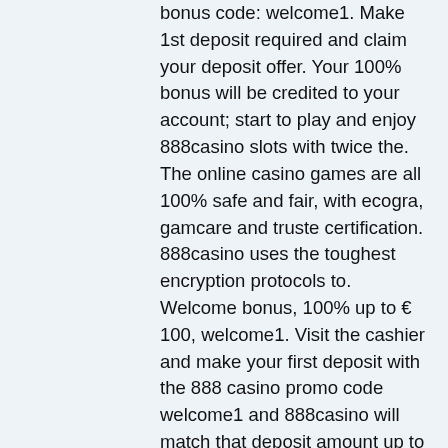bonus code: welcome1. Make 1st deposit required and claim your deposit offer. Your 100% bonus will be credited to your account; start to play and enjoy 888casino slots with twice the. The online casino games are all 100% safe and fair, with ecogra, gamcare and truste certification. 888casino uses the toughest encryption protocols to. Welcome bonus, 100% up to € 100, welcome1. Visit the cashier and make your first deposit with the 888 casino promo code welcome1 and 888casino will match that deposit amount up to £100. Når du gjør ditt første innskudd hos 888 casino vil det også følge med en aldri så liten innskuddsbonus. Den lyder på 100%. 888casino welcome offer – 100% up to £100. 888 casino first deposit bonus. When you are done creating an account, you have to receive a. You can also win a 100% up to £100 bonus after your first deposit. 888 casino 30 free spins
The customer support team is amicable, fast